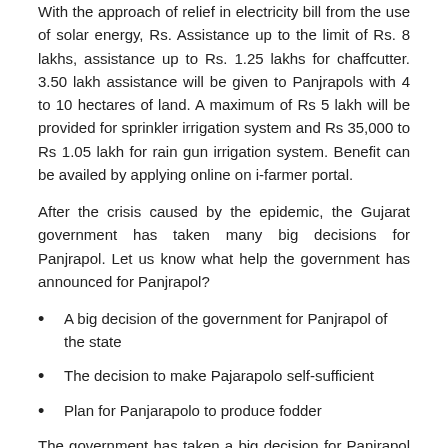With the approach of relief in electricity bill from the use of solar energy, Rs. Assistance up to the limit of Rs. 8 lakhs, assistance up to Rs. 1.25 lakhs for chaffcutter. 3.50 lakh assistance will be given to Panjrapols with 4 to 10 hectares of land. A maximum of Rs 5 lakh will be provided for sprinkler irrigation system and Rs 35,000 to Rs 1.05 lakh for rain gun irrigation system. Benefit can be availed by applying online on i-farmer portal.
After the crisis caused by the epidemic, the Gujarat government has taken many big decisions for Panjrapol. Let us know what help the government has announced for Panjrapol?
A big decision of the government for Panjrapol of the state
The decision to make Pajarapolo self-sufficient
Plan for Panjarapolo to produce fodder
The government has taken a big decision for Panjrapol in the state. It has been decided to make Panjarapolo self-sufficient. These are plans so that Panjarapolo can produce fodder.